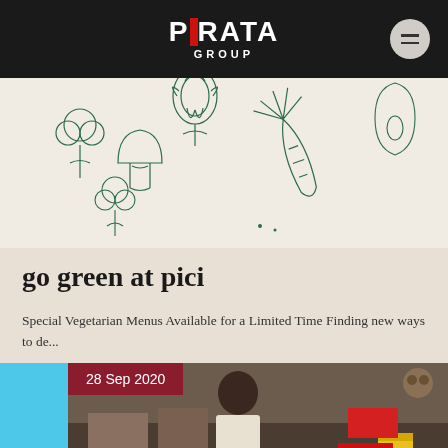PIRATA GROUP
[Figure (illustration): Green hand-drawn vegetable illustrations on light background including artichokes, mushrooms, broccoli, carrots, and other vegetables]
go green at pici
Special Vegetarian Menus Available for a Limited Time Finding new ways to de...
[Figure (photo): Photo of a woman at a market with date badge '28 Sep 2020' overlaid on dark red background, cyan blue strip on left side]